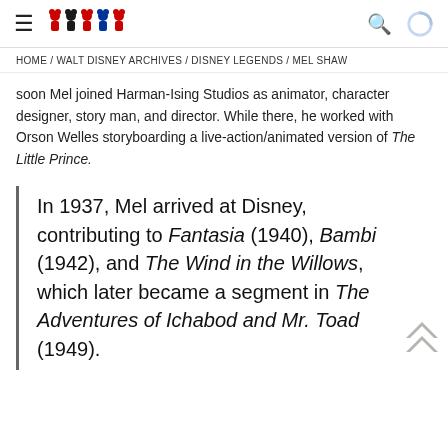≡  [Disney character logo figures]  🔍  [loading spinner]
HOME / WALT DISNEY ARCHIVES / DISNEY LEGENDS / MEL SHAW
soon Mel joined Harman-Ising Studios as animator, character designer, story man, and director. While there, he worked with Orson Welles storyboarding a live-action/animated version of The Little Prince.
In 1937, Mel arrived at Disney, contributing to Fantasia (1940), Bambi (1942), and The Wind in the Willows, which later became a segment in The Adventures of Ichabod and Mr. Toad (1949).